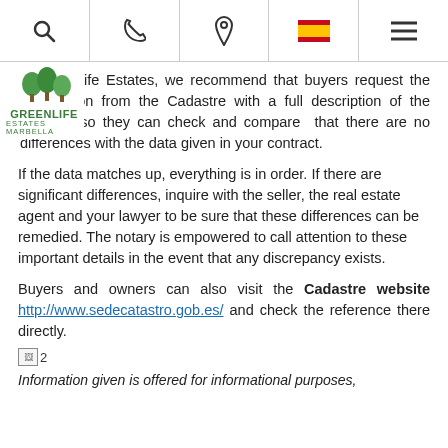Navigation bar with search, phone, location, flag, and menu icons
[Figure (logo): GreenLife Estates Marbella logo with trees]
At Greenlife Estates, we recommend that buyers request the certification from the Cadastre with a full description of the property so they can check and compare that there are no differences with the data given in your contract.
If the data matches up, everything is in order. If there are significant differences, inquire with the seller, the real estate agent and your lawyer to be sure that these differences can be remedied. The notary is empowered to call attention to these important details in the event that any discrepancy exists.
Buyers and owners can also visit the Cadastre website http://www.sedecatastro.gob.es/ and check the reference there directly.
[Figure (photo): Image placeholder (broken image icon) labeled 2]
Information given is offered for informational purposes,